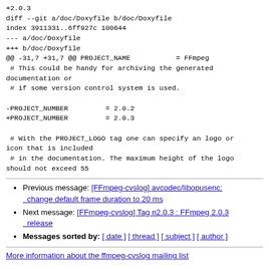+2.0.3
diff --git a/doc/Doxyfile b/doc/Doxyfile
index 3911331..6ff927c 100644
--- a/doc/Doxyfile
+++ b/doc/Doxyfile
@@ -31,7 +31,7 @@ PROJECT_NAME           = FFmpeg
 # This could be handy for archiving the generated documentation or
 # if some version control system is used.

-PROJECT_NUMBER         = 2.0.2
+PROJECT_NUMBER         = 2.0.3

 # With the PROJECT_LOGO tag one can specify an logo or icon that is included
 # in the documentation. The maximum height of the logo should not exceed 55
Previous message: [FFmpeg-cvslog] avcodec/libopusenc: change default frame duration to 20 ms
Next message: [FFmpeg-cvslog] Tag n2.0.3 : FFmpeg 2.0.3 release
Messages sorted by: [ date ] [ thread ] [ subject ] [ author ]
More information about the ffmpeg-cvslog mailing list